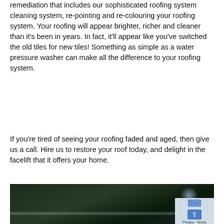remediation that includes our sophisticated roofing system cleaning system, re-pointing and re-colouring your roofing system. Your roofing will appear brighter, richer and cleaner than it's been in years. In fact, it'll appear like you've switched the old tiles for new tiles! Something as simple as a water pressure washer can make all the difference to your roofing system.
If you're tired of seeing your roofing faded and aged, then give us a call. Hire us to restore your roof today, and delight in the facelift that it offers your home.
[Figure (photo): Dark outdoor photo showing a roofing scene, with a Google Maps overlay widget in the bottom right corner showing a blue scroll-to-top button and 'Privacy · Terms' text.]